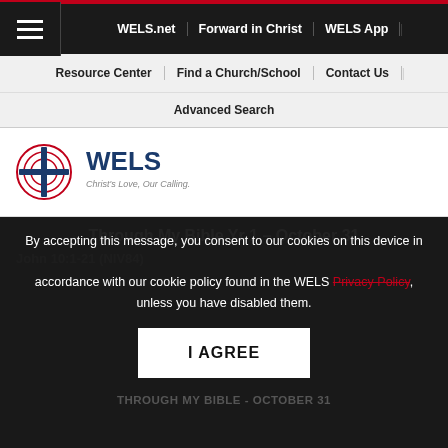WELS.net | Forward in Christ | WELS App | Resource Center | Find a Church/School | Contact Us | Advanced Search
[Figure (logo): WELS logo with cross icon and tagline 'Christ's Love, Our Calling.']
Through My Bible Yr 1 – October 31
John 10:1-21 (NIV84)
By accepting this message, you consent to our cookies on this device in accordance with our cookie policy found in the WELS Privacy Policy, unless you have disabled them.
I AGREE
THROUGH MY BIBLE - OCTOBER 31